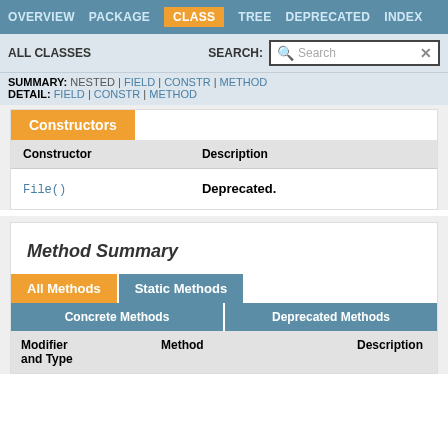OVERVIEW   PACKAGE   CLASS   TREE   DEPRECATED   INDEX
ALL CLASSES   SEARCH:
SUMMARY: NESTED | FIELD | CONSTR | METHOD
DETAIL: FIELD | CONSTR | METHOD
Constructors
| Constructor | Description |
| --- | --- |
| File() | Deprecated. |
Method Summary
| All Methods | Static Methods | Concrete Methods | Deprecated Methods | Modifier and Type | Method | Description |
| --- | --- | --- | --- | --- | --- | --- |